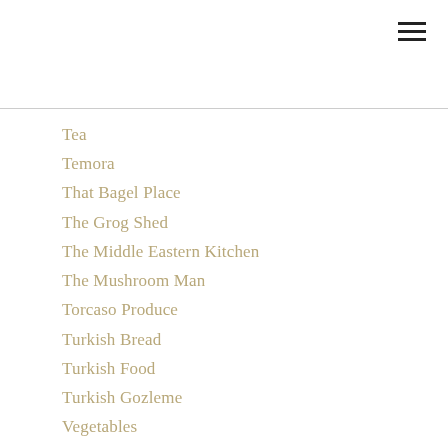[Figure (other): Hamburger menu icon (three horizontal lines) in top-right corner]
Tea
Temora
That Bagel Place
The Grog Shed
The Middle Eastern Kitchen
The Mushroom Man
Torcaso Produce
Turkish Bread
Turkish Food
Turkish Gozleme
Vegetables
Walnut Liqueur
Warp And Weft
Willow Brae Cheese
Windellama Organics
Wines